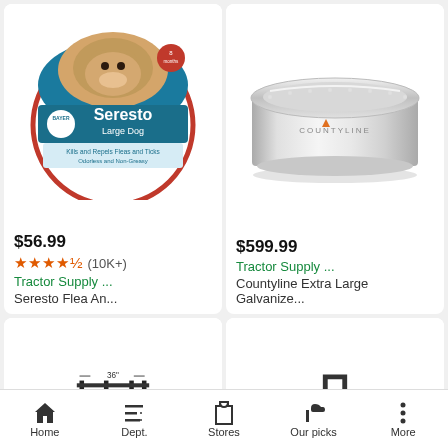[Figure (photo): Seresto Large Dog flea and tick collar product packaging - circular blue and white box with Bayer logo and dog image]
$56.99
★★★★½ (10K+)
Tractor Supply ...
Seresto Flea An...
[Figure (photo): Countyline Extra Large galvanized steel tub/tank - silver metallic round container]
$599.99
Tractor Supply ...
Countyline Extra Large Galvanize...
[Figure (photo): Wire fence/ladder panel - black wire grid with measurement markings, 36 inches tall]
[Figure (photo): Yellow Cub Cadet zero-turn riding lawn mower]
Home  Dept.  Stores  Our picks  More